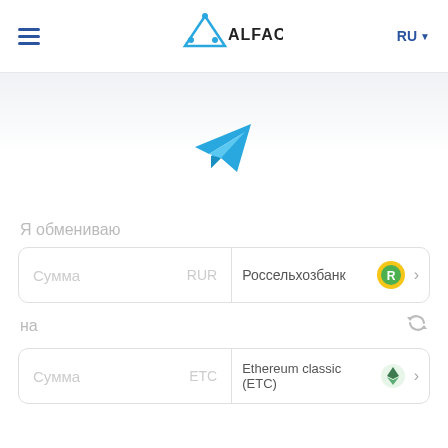[Figure (logo): Alfachange.com logo with triangle icon and text]
RU ▾
[Figure (illustration): Telegram paper plane icon in blue]
Я обмениваю
Сумма  RUR    Россельхозбанк
на
Сумма  ETC    Ethereum classic (ETC)